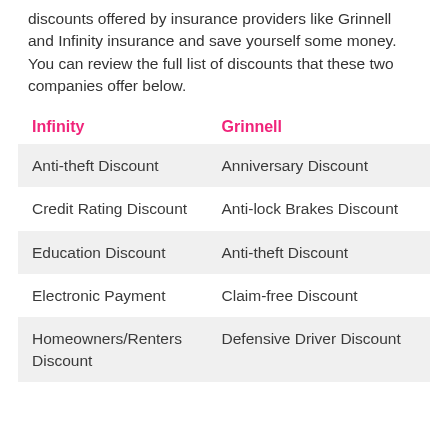discounts offered by insurance providers like Grinnell and Infinity insurance and save yourself some money. You can review the full list of discounts that these two companies offer below.
| Infinity | Grinnell |
| --- | --- |
| Anti-theft Discount | Anniversary Discount |
| Credit Rating Discount | Anti-lock Brakes Discount |
| Education Discount | Anti-theft Discount |
| Electronic Payment | Claim-free Discount |
| Homeowners/Renters Discount | Defensive Driver Discount |